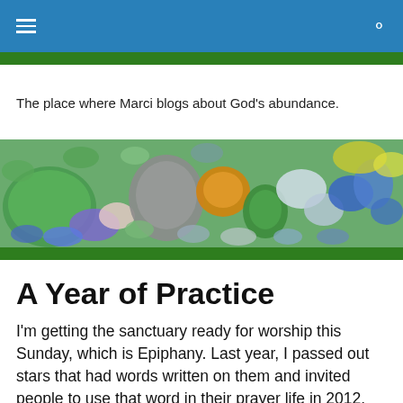Navigation bar with hamburger menu and search icon
The place where Marci blogs about God’s abundance.
[Figure (photo): Close-up photo of colorful sea glass pebbles in green, blue, orange, white, and grey tones on a surface.]
A Year of Practice
I’m getting the sanctuary ready for worship this Sunday, which is Epiphany. Last year, I passed out stars that had words written on them and invited people to use that word in their prayer life in 2012. We’ll be doing it again Sunday (so if you would like a star word but aren’t a Southminster